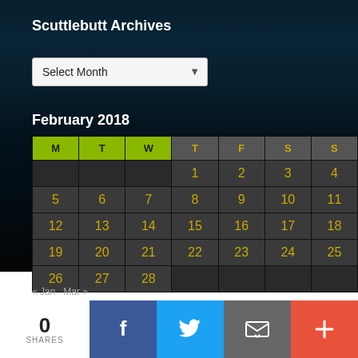Scuttlebutt Archives
[Figure (screenshot): Select Month dropdown]
February 2018
| M | T | W | T | F | S | S |
| --- | --- | --- | --- | --- | --- | --- |
|  |  |  | 1 | 2 | 3 | 4 |
| 5 | 6 | 7 | 8 | 9 | 10 | 11 |
| 12 | 13 | 14 | 15 | 16 | 17 | 18 |
| 19 | 20 | 21 | 22 | 23 | 24 | 25 |
| 26 | 27 | 28 |  |  |  |  |
« Jan   Mar »